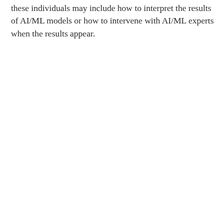these individuals may include how to interpret the results of AI/ML models or how to intervene with AI/ML experts when the results appear.